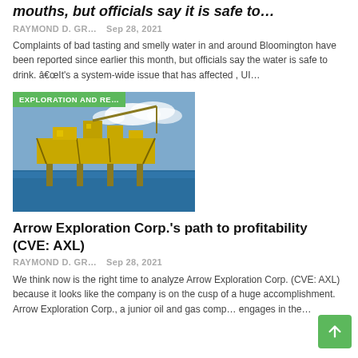mouths, but officials say it is safe to…
RAYMOND D. GR…   Sep 28, 2021
Complaints of bad tasting and smelly water in and around Bloomington have been reported since earlier this month, but officials say the water is safe to drink. â€œIt's a system-wide issue that has affected , UI…
[Figure (photo): Offshore oil platform on the ocean with a green badge reading EXPLORATION AND RE…]
Arrow Exploration Corp.'s path to profitability (CVE: AXL)
RAYMOND D. GR…   Sep 28, 2021
We think now is the right time to analyze Arrow Exploration Corp. (CVE: AXL) because it looks like the company is on the cusp of a huge accomplishment. Arrow Exploration Corp., a junior oil and gas comp… engages in the…